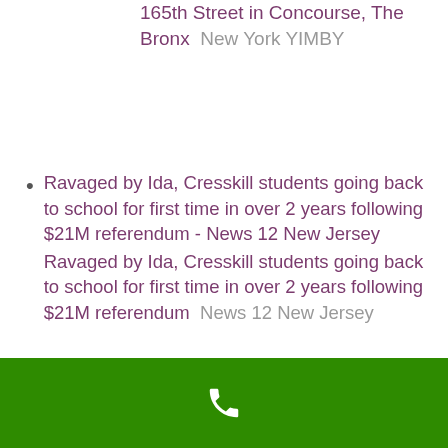165th Street in Concourse, The Bronx  New York YIMBY
Ravaged by Ida, Cresskill students going back to school for first time in over 2 years following $21M referendum - News 12 New Jersey
Ravaged by Ida, Cresskill students going back to school for first time in over 2 years following $21M referendum  News 12 New Jersey
Hawthorne NJ police must suppress rifle sound at firing range  Northlersey.com